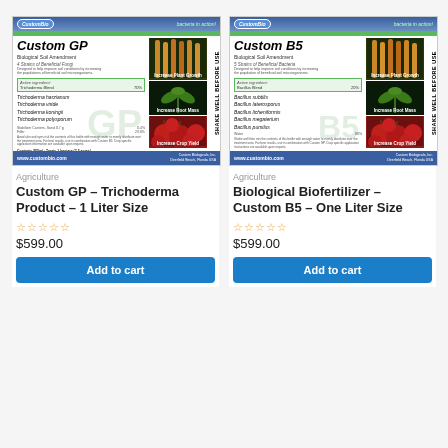[Figure (photo): CustomBio Custom GP Biological Soil Amendment product label - 1 Liter Size showing plant growth and crop yield images]
[Figure (photo): CustomBio Custom B5 Biological Soil Amendment product label - 1 Liter Size showing plant growth and crop yield images]
Agriculture
Custom GP – Trichoderma Product – 1 Liter Size
☆☆☆☆☆
$599.00
Add to cart
Agriculture
Biological Biofertilizer – Custom B5 – One Liter Size
☆☆☆☆☆
$599.00
Add to cart